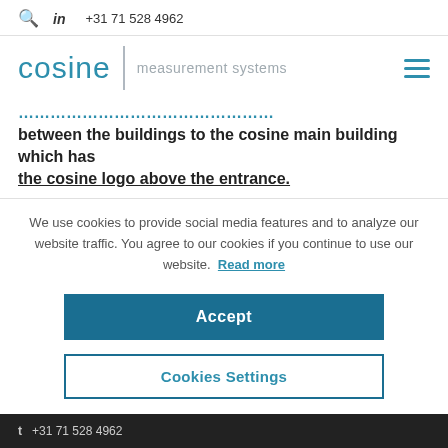🔍  in  +31 71 528 4962
[Figure (logo): Cosine measurement systems logo with teal text and divider line, hamburger menu icon on right]
between the buildings to the cosine main building which has the cosine logo above the entrance.
We use cookies to provide social media features and to analyze our website traffic. You agree to our cookies if you continue to use our website. Read more
Accept
Cookies Settings
t  +31 71 528 4962